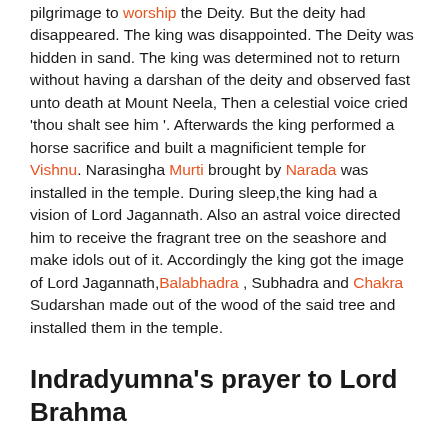pilgrimage to worship the Deity. But the deity had disappeared. The king was disappointed. The Deity was hidden in sand. The king was determined not to return without having a darshan of the deity and observed fast unto death at Mount Neela, Then a celestial voice cried 'thou shalt see him '. Afterwards the king performed a horse sacrifice and built a magnificient temple for Vishnu. Narasingha Murti brought by Narada was installed in the temple. During sleep,the king had a vision of Lord Jagannath. Also an astral voice directed him to receive the fragrant tree on the seashore and make idols out of it. Accordingly the king got the image of Lord Jagannath,Balabhadra , Subhadra and Chakra Sudarshan made out of the wood of the said tree and installed them in the temple.
Indradyumna's prayer to Lord Brahma
King Indardyumna put up for Jagannath the tallest monument of the world. It was 1,000 cubits high. He invited Lord Brahma, the cosmic creator,consecrate the